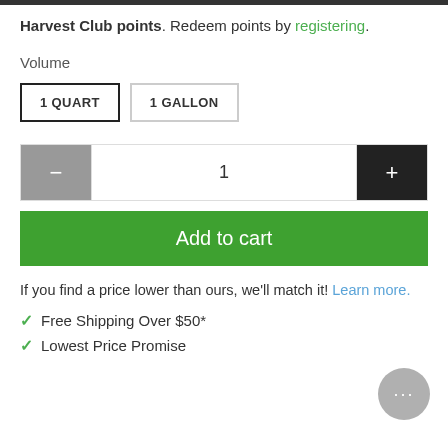Harvest Club points. Redeem points by registering.
Volume
1 QUART   1 GALLON
1
Add to cart
If you find a price lower than ours, we'll match it! Learn more.
✓ Free Shipping Over $50*
✓ Lowest Price Promise